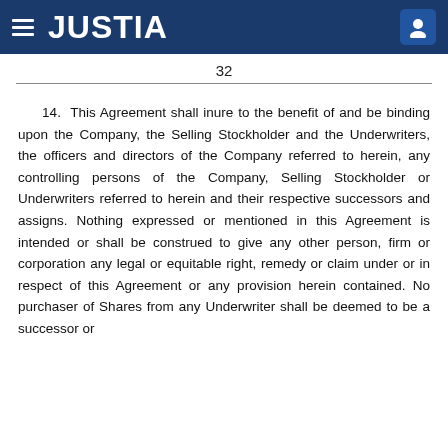JUSTIA
32
14. This Agreement shall inure to the benefit of and be binding upon the Company, the Selling Stockholder and the Underwriters, the officers and directors of the Company referred to herein, any controlling persons of the Company, Selling Stockholder or Underwriters referred to herein and their respective successors and assigns. Nothing expressed or mentioned in this Agreement is intended or shall be construed to give any other person, firm or corporation any legal or equitable right, remedy or claim under or in respect of this Agreement or any provision herein contained. No purchaser of Shares from any Underwriter shall be deemed to be a successor or